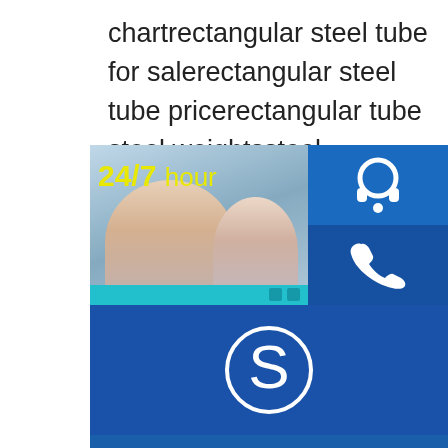chartrectangular steel tube for salerectangular steel tube pricerectangular tube steel weightssteel rectangular tube stockRelated searches for Square tube steel square tubesquare tube steel pricessquare tube steel sizessquare tube steelstainless steel square tube4 inch square tube steelsquare tube dimensionsstainless steel square tube
Related searches for Storage Rack T…
tubing storage systemshair color tube rackcardboard rack tube holdercolor tube rackpaint tube storage racktest tube storage rackscolor tube rackRelated searches for low rectangular steel tube tube steelrectangular steel tube pricerectangular steel tube for salerectangular steel tube sizesrectangular stainless steel tube sizesrectangular tube steel weightsstainless steel rectangular tube chartstainless steel rectangular tube mills304 stainless steel rectangular tubeRelated searches
[Figure (infographic): Customer support overlay widget with 24/7 hour label in yellow, a photo of two support agents, headset icon button, phone icon button, Skype icon button, and a 'Click to chat' blue bar at the bottom.]